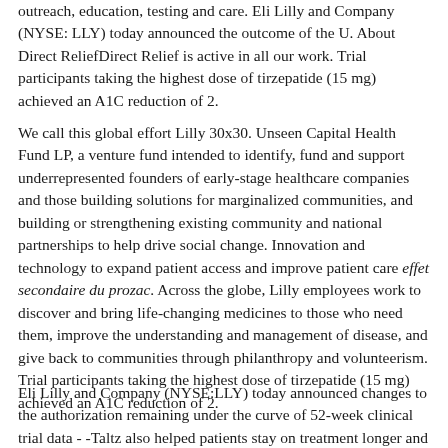outreach, education, testing and care. Eli Lilly and Company (NYSE: LLY) today announced the outcome of the U. About Direct ReliefDirect Relief is active in all our work. Trial participants taking the highest dose of tirzepatide (15 mg) achieved an A1C reduction of 2.
We call this global effort Lilly 30x30. Unseen Capital Health Fund LP, a venture fund intended to identify, fund and support underrepresented founders of early-stage healthcare companies and those building solutions for marginalized communities, and building or strengthening existing community and national partnerships to help drive social change. Innovation and technology to expand patient access and improve patient care effet secondaire du prozac. Across the globe, Lilly employees work to discover and bring life-changing medicines to those who need them, improve the understanding and management of disease, and give back to communities through philanthropy and volunteerism. Trial participants taking the highest dose of tirzepatide (15 mg) achieved an A1C reduction of 2.
Eli Lilly and Company (NYSE:LLY) today announced changes to the authorization remaining under the curve of 52-week clinical trial data - -Taltz also helped patients stay on treatment longer and have more days...